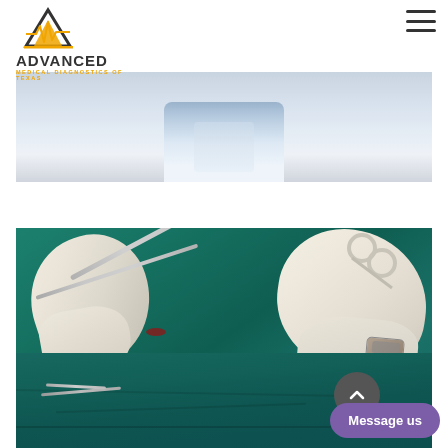[Figure (logo): Advanced Medical Diagnostics of Texas logo with mountain/ECG icon in black and gold]
[Figure (photo): Partial view of a doctor or medical professional in white coat (top portion of image, cropped)]
[Figure (photo): Surgeon wearing green scrubs and white latex gloves performing a surgical procedure, holding surgical instruments including scissors and forceps, with green surgical drape visible]
Message us